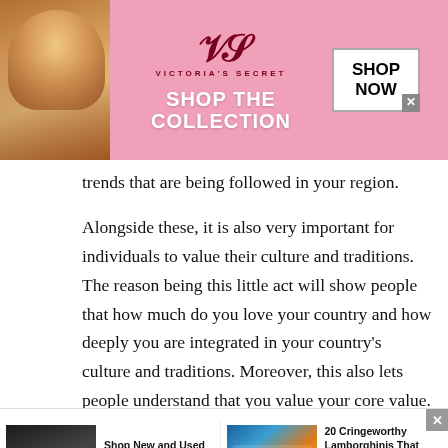[Figure (other): Victoria's Secret advertisement banner showing a model, the VS logo, 'SHOP THE COLLECTION' text, and a 'SHOP NOW' button]
trends that are being followed in your region.
Alongside these, it is also very important for individuals to value their culture and traditions. The reason being this little act will show people that how much do you love your country and how deeply you are integrated in your country's culture and traditions. Moreover, this also lets people understand that you value your core value. This makes people want to learn more about you.
[Figure (other): Two advertisement blocks at the bottom: 'Shop New and Used Car Deals Near You' by Car Deals Near You, and '20 Cringeworthy Lamborghinis That Hurt Our Eyes and Brains!' by Aity News]